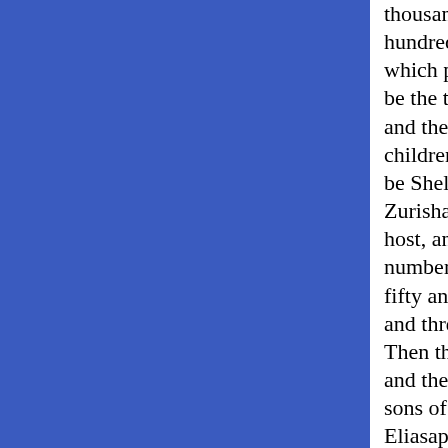thousand and five hundred. 12 And those which pitch by him shall be the tribe of Simeon: and the captain of the children of Simeon shall be Shelumiel the son of Zurishaddai. 13 And his host, and those that were numbered of them, were fifty and nine thousand and three hundred. 14 Then the tribe of Gad: and the captain of the sons of Gad shall be Eliasaph the son of Reuel. 15 And his host, and those that were numbered of them, were forty